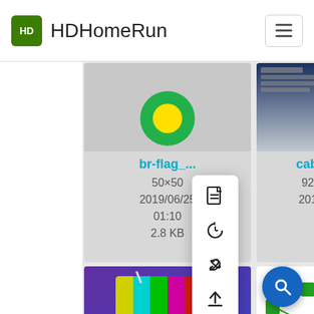HDHomeRun
[Figure (screenshot): br-flag thumbnail - green circle with yellow inner circle on grey background]
br-flag...
50×50
2019/06/25 01:10
2.8 KB
[Figure (screenshot): cablecar image thumbnail - dark blue background]
cablecar...
926×1158
2019/06/21
57... KB
[Figure (screenshot): channel image - TV with color bars on purple/blue gradient background]
channel...
580×363
2019/10/14
[Figure (screenshot): connect image - network diagram on white background]
connect...
10...89
2019/04